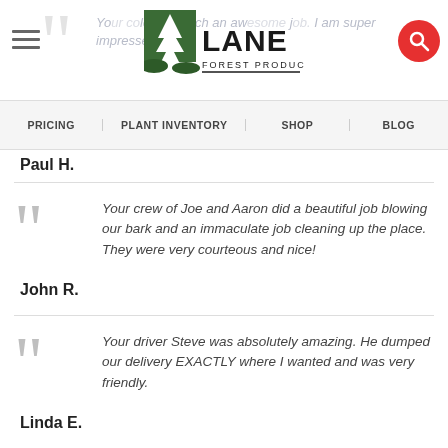Lane Forest Products — header with navigation: PRICING | PLANT INVENTORY | SHOP | BLOG
Your crew of Joe and Aaron did a beautiful job blowing our bark and an immaculate job cleaning up the place. They were very courteous and nice!
John R.
Your driver Steve was absolutely amazing. He dumped our delivery EXACTLY where I wanted and was very friendly.
Linda E.